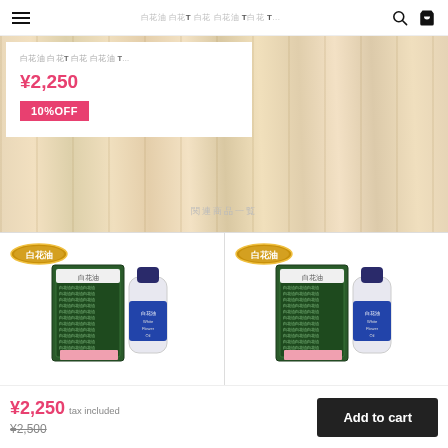ハンバーガーメニュー 白花油 白花TシャツT シャツ 白花油 白花T... 検索 カート
白花油 白花TシャツT シャツ 白花油 T...
¥2,250
10%OFF
関連商品一覧
[Figure (photo): White Flower Oil product bottle and box set, left product card]
[Figure (photo): White Flower Oil product bottle and box set, right product card]
¥2,250 tax included ¥2,500
Add to cart